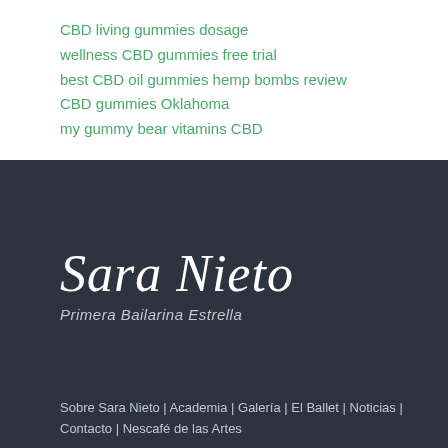CBD living gummies dosage
wellness CBD gummies free trial
best CBD oil gummies hemp bombs review
CBD gummies Oklahoma
my gummy bear vitamins CBD
Sara Nieto
Primera Bailarina Estrella
Sobre Sara Nieto | Academia | Galería | El Ballet | Noticias | Contacto | Nescafé de las Artes